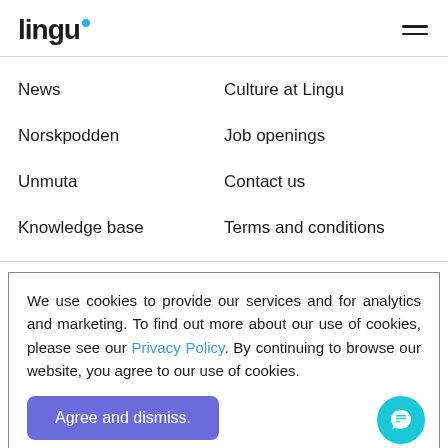lingu
News
Culture at Lingu
Norskpodden
Job openings
Unmuta
Contact us
Knowledge base
Terms and conditions
We use cookies to provide our services and for analytics and marketing. To find out more about our use of cookies, please see our Privacy Policy. By continuing to browse our website, you agree to our use of cookies.
Agree and dismiss.